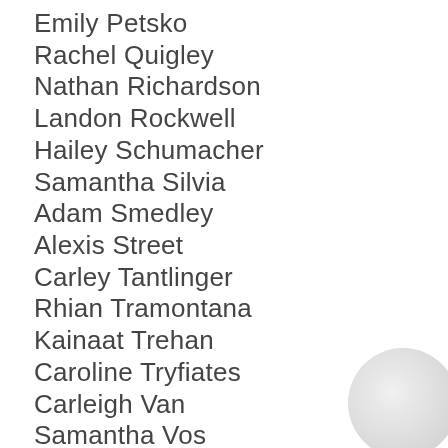Emily Petsko
Rachel Quigley
Nathan Richardson
Landon Rockwell
Hailey Schumacher
Samantha Silvia
Adam Smedley
Alexis Street
Carley Tantlinger
Rhian Tramontana
Kainaat Trehan
Caroline Tryfiates
Carleigh Van
Samantha Vos
John Wampler
Evelyn Weaver
Ryan Westpfahl